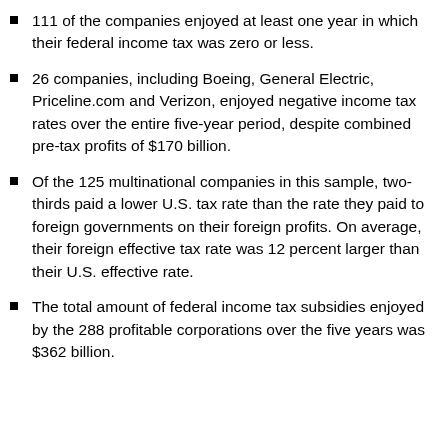111 of the companies enjoyed at least one year in which their federal income tax was zero or less.
26 companies, including Boeing, General Electric, Priceline.com and Verizon, enjoyed negative income tax rates over the entire five-year period, despite combined pre-tax profits of $170 billion.
Of the 125 multinational companies in this sample, two-thirds paid a lower U.S. tax rate than the rate they paid to foreign governments on their foreign profits. On average, their foreign effective tax rate was 12 percent larger than their U.S. effective rate.
The total amount of federal income tax subsidies enjoyed by the 288 profitable corporations over the five years was $362 billion.